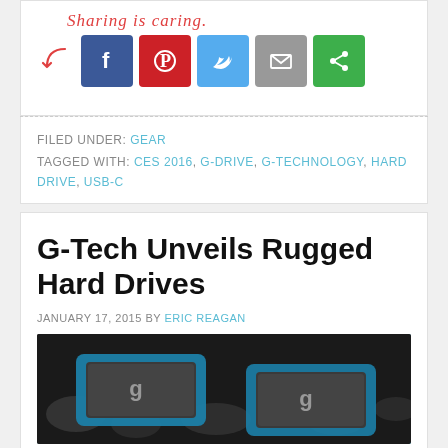[Figure (infographic): Sharing is caring! social share buttons: Facebook (blue), Pinterest (red), Twitter (light blue), Email (gray), Google (green)]
FILED UNDER: GEAR
TAGGED WITH: CES 2016, G-DRIVE, G-TECHNOLOGY, HARD DRIVE, USB-C
G-Tech Unveils Rugged Hard Drives
JANUARY 17, 2015 BY ERIC REAGAN
[Figure (photo): Photo of two rugged G-Technology hard drives with blue rubber bumpers on a rocky surface]